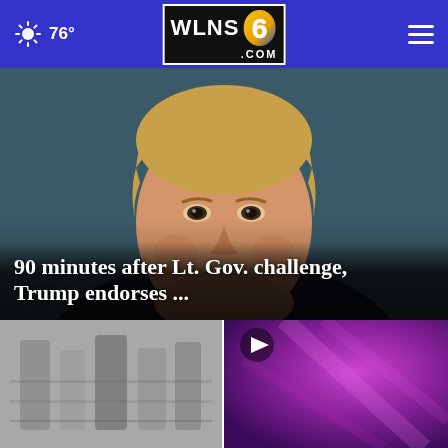76° WLNS6.COM
[Figure (photo): Close-up portrait photo of Donald Trump with a serious expression, wearing a dark suit and white shirt, against a dark teal background.]
90 minutes after Lt. Gov. challenge, Trump endorses ...
[Figure (photo): Black and white photo (bottom left), partially visible — appears to show some textured or architectural subject.]
[Figure (photo): Purple/magenta abstract or glowing background image (bottom right) with a video play button overlay.]